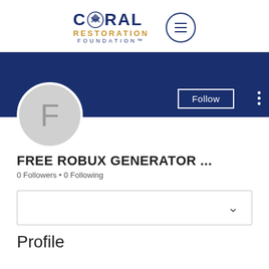[Figure (logo): Coral Restoration Foundation logo with circular coral icon, text CORAL in dark blue, RESTORATION in gold/amber, FOUNDATION in small dark blue letters. Hamburger menu icon in circle to the right.]
[Figure (screenshot): Dark navy blue banner image, Follow button with white border, three vertical dots menu icon, circular avatar placeholder with letter F in light gray.]
FREE ROBUX GENERATOR ...
0 Followers • 0 Following
[Figure (screenshot): Dropdown/collapsible box with chevron down arrow on right side.]
Profile